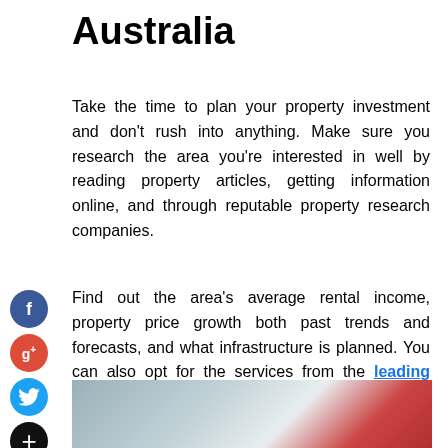Australia
Take the time to plan your property investment and don't rush into anything. Make sure you research the area you're interested in well by reading property articles, getting information online, and through reputable property research companies.
[Figure (infographic): Social media sharing sidebar icons: Facebook (blue circle, f), Google+ (red circle, g+), Twitter (blue circle, bird), Add/Share (black circle, +)]
Find out the area's average rental income, property price growth both past trends and forecasts, and what infrastructure is planned. You can also opt for the services from the leading property investment company online.
[Figure (photo): A blurred street or outdoor photo with a person wearing a red jacket visible on the right side.]